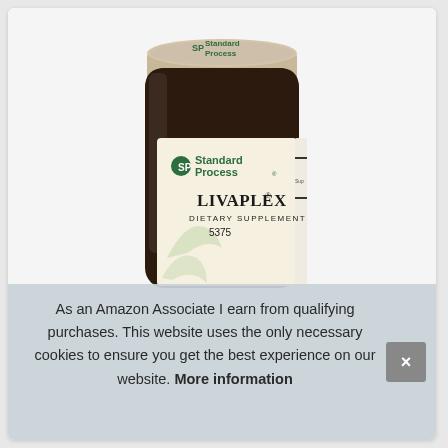[Figure (photo): A dark amber glass bottle of Standard Process Livaplex Dietary Supplement (product number 5375). The bottle has a silver/tan cap with the Standard Process logo on it, and a cream-colored label showing the Standard Process logo, product name Livaplex, the text Dietary Supplement, and the number 5375. The label also features a botanical leaf illustration.]
As an Amazon Associate I earn from qualifying purchases. This website uses the only necessary cookies to ensure you get the best experience on our website. More information